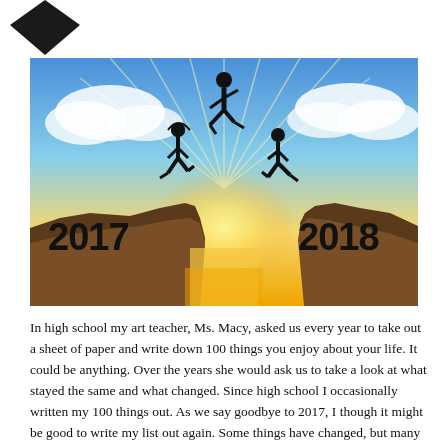[Figure (logo): Dark diamond/arrow shaped logo in top left corner]
[Figure (photo): Inspirational photo showing silhouettes of three people leaping from a cliff labeled '2017' to a cliff labeled '2018' against a dramatic sunset sky with rays of light]
In high school my art teacher, Ms. Macy, asked us every year to take out a sheet of paper and write down 100 things you enjoy about your life. It could be anything. Over the years she would ask us to take a look at what stayed the same and what changed. Since high school I occasionally written my 100 things out. As we say goodbye to 2017, I though it might be good to write my list out again. Some things have changed, but many